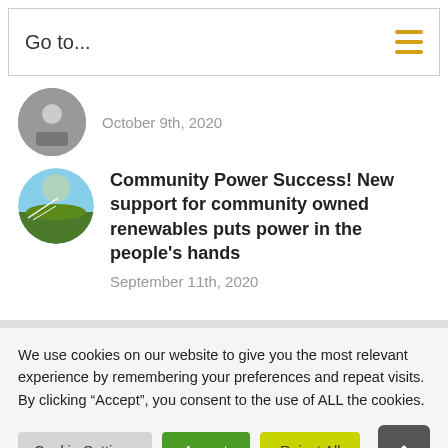Go to...
October 9th, 2020
Community Power Success! New support for community owned renewables puts power in the people's hands
September 11th, 2020
We use cookies on our website to give you the most relevant experience by remembering your preferences and repeat visits. By clicking “Accept”, you consent to the use of ALL the cookies.